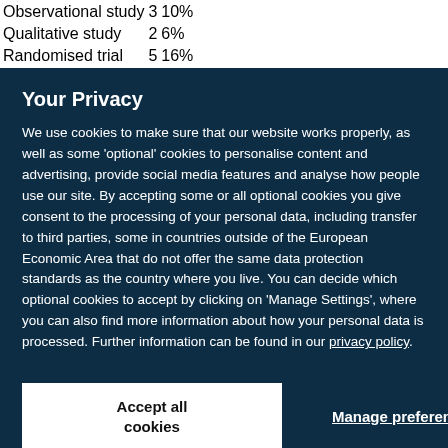| Observational study | 3 | 10% |
| Qualitative study | 2 | 6% |
| Randomised trial | 5 | 16% |
Your Privacy
We use cookies to make sure that our website works properly, as well as some 'optional' cookies to personalise content and advertising, provide social media features and analyse how people use our site. By accepting some or all optional cookies you give consent to the processing of your personal data, including transfer to third parties, some in countries outside of the European Economic Area that do not offer the same data protection standards as the country where you live. You can decide which optional cookies to accept by clicking on 'Manage Settings', where you can also find more information about how your personal data is processed. Further information can be found in our privacy policy.